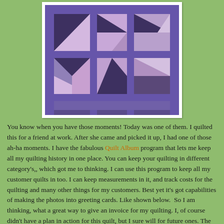[Figure (photo): A purple quilt with geometric triangle and square patterns in purple, pink, and dark tones, displayed against a white border background.]
You know when you have those moments! Today was one of them. I quilted this for a friend at work. After she came and picked it up, I had one of those ah-ha moments. I have the fabulous Quilt Album program that lets me keep all my quilting history in one place. You can keep your quilting in different category's,, which got me to thinking. I can use this program to keep all my customer quilts in too. I can keep measurements in it, and track costs for the quilting and many other things for my customers. Best yet it's got capabilities of making the photos into greeting cards. Like shown below.  So I am thinking, what a great way to give an invoice for my quilting. I, of course didn't have a plan in action for this quilt, but I sure will for future ones. The printing portion allows you to print a variety of information about the quilt. So in the future I will